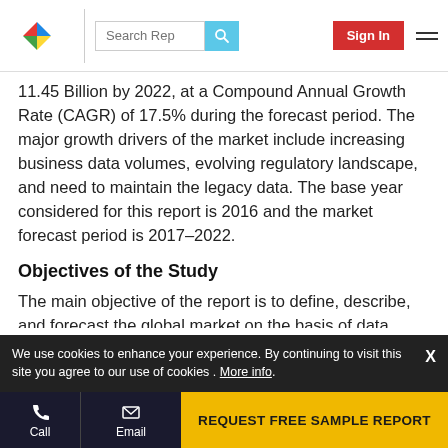Search Rep | Sign In
11.45 Billion by 2022, at a Compound Annual Growth Rate (CAGR) of 17.5% during the forecast period. The major growth drivers of the market include increasing business data volumes, evolving regulatory landscape, and need to maintain the legacy data. The base year considered for this report is 2016 and the market forecast period is 2017–2022.
Objectives of the Study
The main objective of the report is to define, describe, and forecast the global market on the basis of data types, business functions, components, deployment models, organization sizes, industry verticals, and regions. The
We use cookies to enhance your experience. By continuing to visit this site you agree to our use of cookies . More info.
Call | Email | REQUEST FREE SAMPLE REPORT